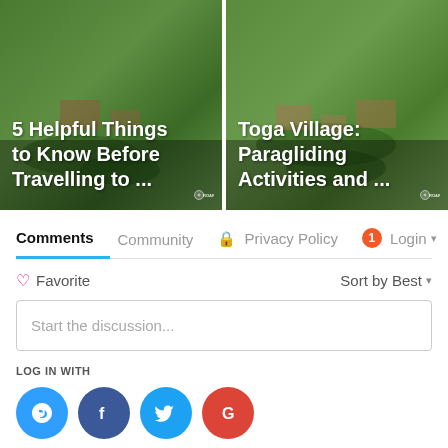[Figure (screenshot): Two travel article thumbnail images. Left: '5 Helpful Things to Know Before Travelling to ...' with aerial landscape photo. Right: 'Toga Village: Paragliding Activities and ...' with aerial village photo. Both have ROAR watermark logos.]
Comments
Community
Privacy Policy
1
Login
♡ Favorite
Sort by Best ▾
Start the discussion...
LOG IN WITH
OR SIGN UP WITH DISQUS ?
Name